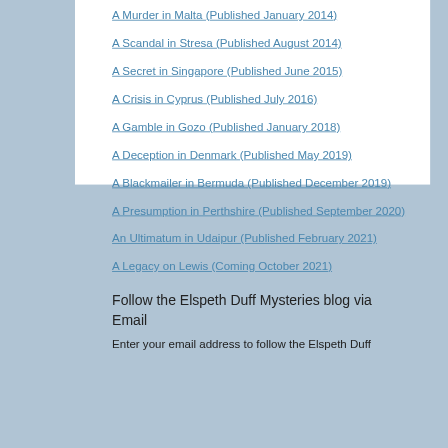A Murder in Malta (Published January 2014)
A Scandal in Stresa (Published August 2014)
A Secret in Singapore (Published June 2015)
A Crisis in Cyprus (Published July 2016)
A Gamble in Gozo (Published January 2018)
A Deception in Denmark (Published May 2019)
A Blackmailer in Bermuda (Published December 2019)
A Presumption in Perthshire (Published September 2020)
An Ultimatum in Udaipur (Published February 2021)
A Legacy on Lewis (Coming October 2021)
Follow the Elspeth Duff Mysteries blog via Email
Enter your email address to follow the Elspeth Duff